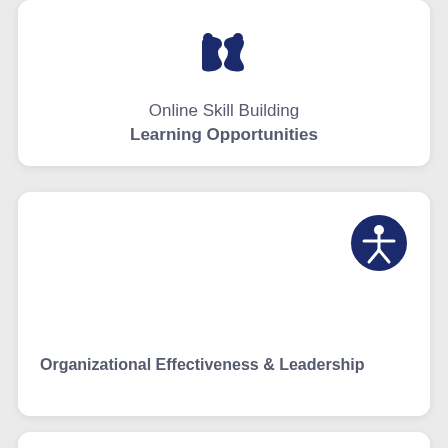[Figure (illustration): Dark navy blue puzzle piece icon with interlocking pieces forming a head/brain shape]
Online Skill Building
Learning Opportunities
[Figure (logo): Accessibility icon: white person with arms out inside a dark navy blue circle with ring border]
Organizational Effectiveness & Leadership